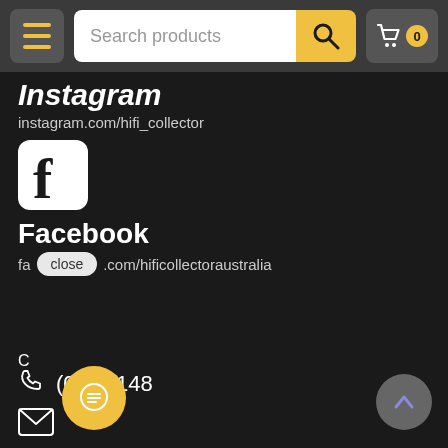[Figure (screenshot): Top navigation bar with hamburger menu, search bar with 'Search products' placeholder and yellow search button, and cart icon with 0 count]
Instagram
instagram.com/hifi_collector
[Figure (logo): Facebook logo icon - white F on white rounded square background]
Facebook
facebook.com/hificollectoraustralia
[Figure (screenshot): Chat popup bubble with avatar photo and text: Hi there, have a question? Text us here.]
(0... 0148
[Figure (screenshot): Yellow circular chat button at bottom left, and grey scroll-up button at bottom right with purple chevron]